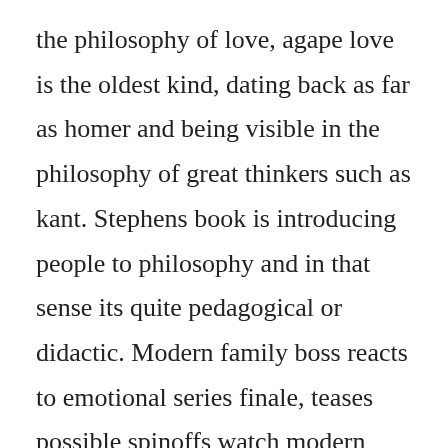the philosophy of love, agape love is the oldest kind, dating back as far as homer and being visible in the philosophy of great thinkers such as kant. Stephens book is introducing people to philosophy and in that sense its quite pedagogical or didactic. Modern family boss reacts to emotional series finale, teases possible spinoffs watch modern family online. The entire collection of philsosophy by phil dunphy from. Then you can start reading kindle books on your smartphone, tablet, or computer no kindle device required. Then how come to